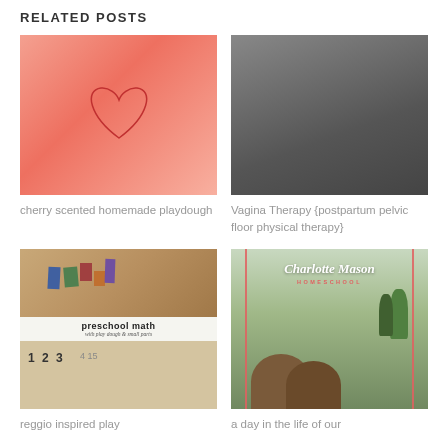RELATED POSTS
[Figure (photo): Pink cherry scented homemade playdough with a heart drawn on it]
[Figure (photo): Dark gray/black image for Vagina Therapy postpartum pelvic floor physical therapy post]
cherry scented homemade playdough
Vagina Therapy {postpartum pelvic floor physical therapy}
[Figure (photo): Preschool math with play dough and small parts - colored blocks and number tiles]
[Figure (photo): Charlotte Mason Homeschool post - children looking at outdoor scene with trees]
reggio inspired play
a day in the life of our